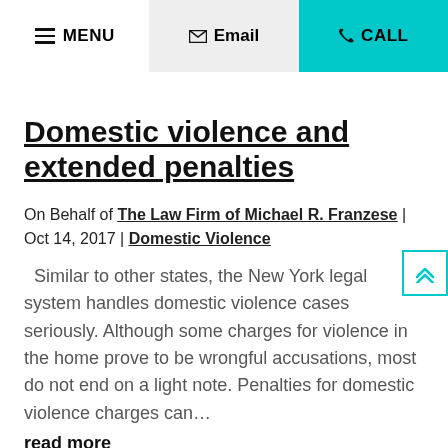MENU | Email | CALL
Domestic violence and extended penalties
On Behalf of The Law Firm of Michael R. Franzese | Oct 14, 2017 | Domestic Violence
Similar to other states, the New York legal system handles domestic violence cases seriously. Although some charges for violence in the home prove to be wrongful accusations, most do not end on a light note. Penalties for domestic violence charges can…
read more